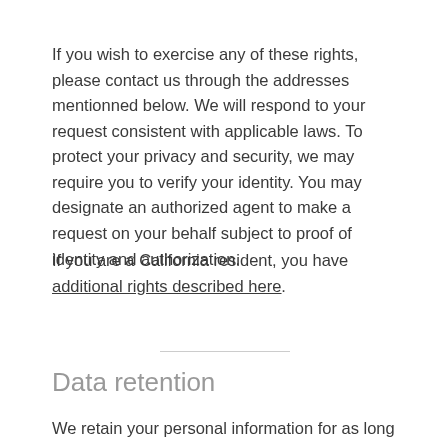If you wish to exercise any of these rights, please contact us through the addresses mentionned below. We will respond to your request consistent with applicable laws. To protect your privacy and security, we may require you to verify your identity. You may designate an authorized agent to make a request on your behalf subject to proof of identity and authorization.
If you are a California resident, you have additional rights described here.
Data retention
We retain your personal information for as long as necessary to provide the Service and fulfill the